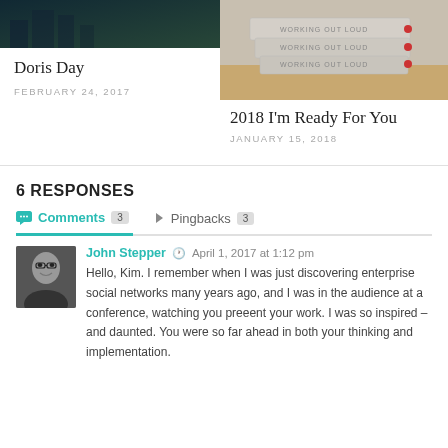[Figure (photo): Top-left blog post card showing dark image (city/technology background) with title 'Doris Day' and date 'FEBRUARY 24, 2017']
Doris Day
FEBRUARY 24, 2017
[Figure (photo): Top-right blog post card with photo of stacked 'Working Out Loud' books on a desk]
2018 I'm Ready For You
JANUARY 15, 2018
6 RESPONSES
Comments 3   Pingbacks 3
John Stepper   April 1, 2017 at 1:12 pm
Hello, Kim. I remember when I was just discovering enterprise social networks many years ago, and I was in the audience at a conference, watching you preeent your work. I was so inspired – and daunted. You were so far ahead in both your thinking and implementation.